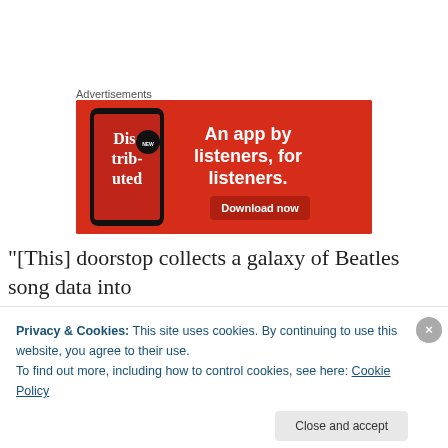Advertisements
[Figure (infographic): Red advertisement banner for a podcast/music app. Shows a smartphone with 'Dis-trib-uted' text on screen and tagline 'An app by listeners, for listeners.' with a 'Download now' button.]
“[This] doorstop collects a galaxy of Beatles song data into
impressively simple and digestible form. Beautifully
Privacy & Cookies: This site uses cookies. By continuing to use this website, you agree to their use.
To find out more, including how to control cookies, see here: Cookie Policy
Close and accept